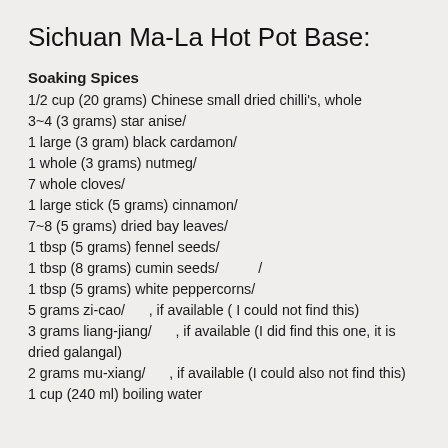Sichuan Ma-La Hot Pot Base:
Soaking Spices
1/2 cup (20 grams) Chinese small dried chilli's, whole
3~4 (3 grams) star anise/
1 large (3 gram) black cardamon/
1 whole (3 grams) nutmeg/
7 whole cloves/
1 large stick (5 grams) cinnamon/
7~8 (5 grams) dried bay leaves/
1 tbsp (5 grams) fennel seeds/
1 tbsp (8 grams) cumin seeds/          /
1 tbsp (5 grams) white peppercorns/
5 grams zi-cao/      , if available ( I could not find this)
3 grams liang-jiang/      , if available (I did find this one, it is dried galangal)
2 grams mu-xiang/      , if available (I could also not find this)
1 cup (240 ml) boiling water